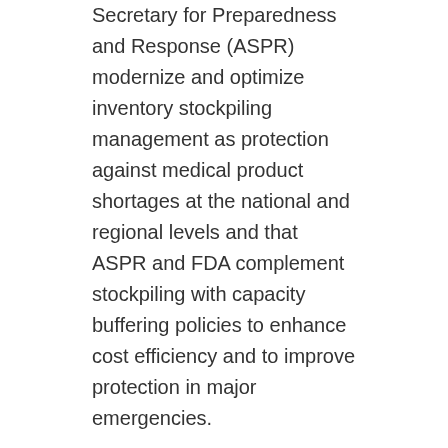Secretary for Preparedness and Response (ASPR) modernize and optimize inventory stockpiling management as protection against medical product shortages at the national and regional levels and that ASPR and FDA complement stockpiling with capacity buffering policies to enhance cost efficiency and to improve protection in major emergencies.
Under the response category, they suggest policies for building organizational capabilities that protect health during emergency disruptions. The committee recommends negotiating an international, plurilateral treaty with other major medical product exporters to make more effective use of limited global supplies by ruling out export bans on vital medical products and components and that ASPR and the Centers for Disease Control and Prevention